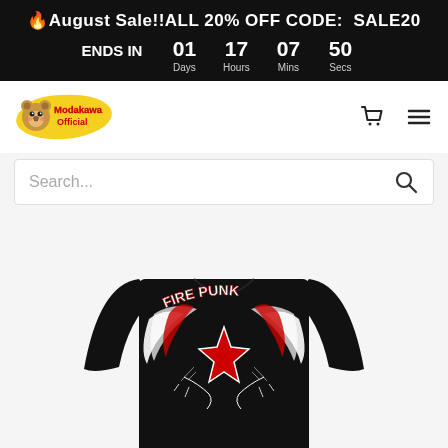🔥August Sale!!ALL 20% OFF CODE: SALE20 ENDS IN 01 17 07 50 Days Hours Mins Secs
[Figure (logo): Modakawa Official bear mascot logo with yellow paint splash background]
Search...
[Figure (photo): Black long-sleeve fitted top with gothic flame and cross graphic print in red and white on the chest/shoulder area]